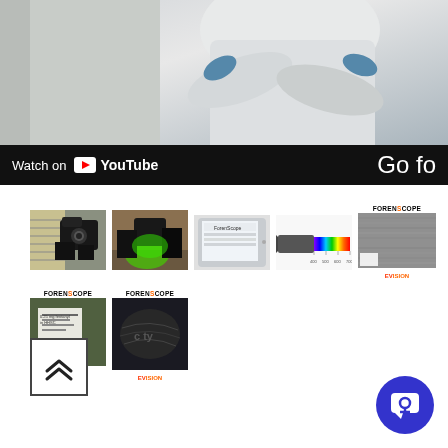[Figure (screenshot): YouTube video thumbnail showing a person in a white protective suit/hazmat suit, with a YouTube bar below showing 'Watch on YouTube' and partial text 'Go fo']
[Figure (photo): Small thumbnail of person holding camera with black gloves outdoors]
[Figure (photo): Small thumbnail of person examining something with green light and black gloves]
[Figure (photo): Small thumbnail of a tablet/rugged device showing ForenScope software]
[Figure (photo): Small thumbnail of a spectroscope/optical device with rainbow spectrum display]
[Figure (photo): ForenScope branded image showing a grayscale microscopic/surface image with EVision label]
[Figure (photo): ForenScope branded image showing a detail photo with a document/label visible]
[Figure (photo): ForenScope branded image showing a dark surface with EVision label at bottom]